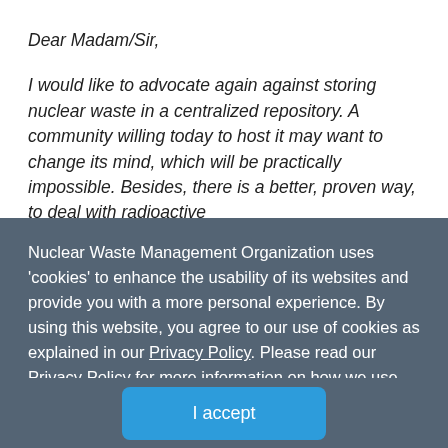Dear Madam/Sir,
I would like to advocate again against storing nuclear waste in a centralized repository. A community willing today to host it may want to change its mind, which will be practically impossible. Besides, there is a better, proven way, to deal with radioactive
Nuclear Waste Management Organization uses 'cookies' to enhance the usability of its websites and provide you with a more personal experience. By using this website, you agree to our use of cookies as explained in our Privacy Policy. Please read our Privacy Policy for more information on how we use cookies and how you can manage them. Click here to learn more about website cookies.
I accept